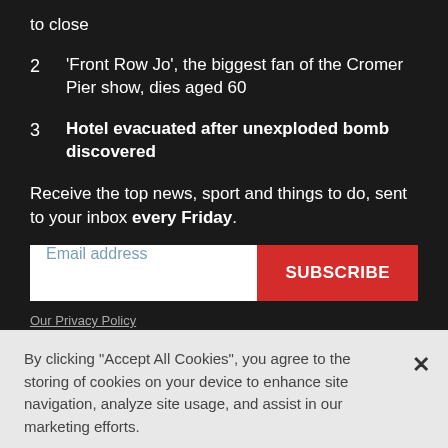to close
2  'Front Row Jo', the biggest fan of the Cromer Pier show, dies aged 60
3  Hotel evacuated after unexploded bomb discovered
Receive the top news, sport and things to do, sent to your inbox every Friday.
Email address
SUBSCRIBE
Our Privacy Policy
By clicking "Accept All Cookies", you agree to the storing of cookies on your device to enhance site navigation, analyze site usage, and assist in our marketing efforts.